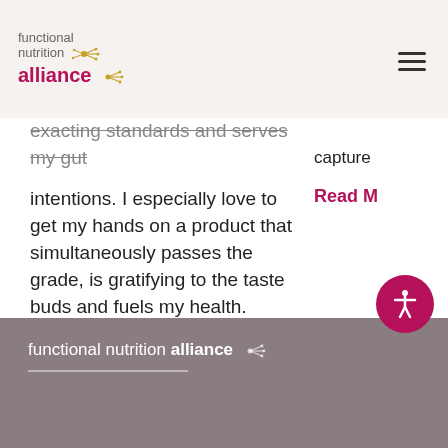functional nutrition alliance
exacting standards and serves my gut intentions. I especially love to get my hands on a product that simultaneously passes the grade, is gratifying to the taste buds and fuels my health. That's what these pages are all about! Today I raise a glass to KeVita, my favorite drink on-the-go.
Read More >
capture
Read M
functional nutrition alliance